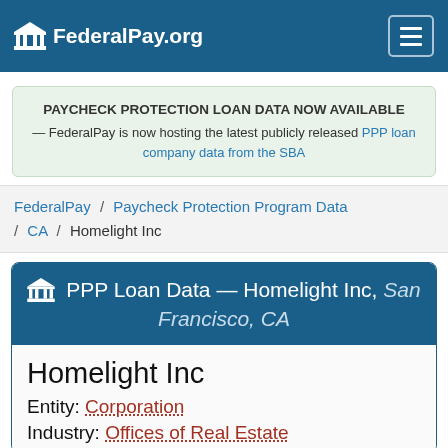FederalPay.org
PAYCHECK PROTECTION LOAN DATA NOW AVAILABLE — FederalPay is now hosting the latest publicly released PPP loan company data from the SBA
FederalPay / Paycheck Protection Program Data / CA / Homelight Inc
PPP Loan Data — Homelight Inc, San Francisco, CA
Homelight Inc
Entity: Corporation
Industry: Offices of Real Estate